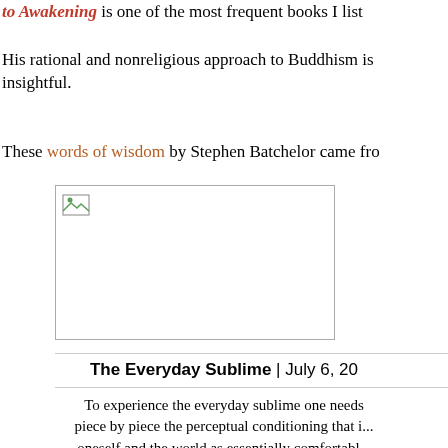to Awakening is one of the most frequent books I list...
His rational and nonreligious approach to Buddhism is insightful.
These words of wisdom by Stephen Batchelor came fro...
[Figure (photo): Image placeholder with broken image icon]
The Everyday Sublime | July 6, 20...
To experience the everyday sublime one needs piece by piece the perceptual conditioning that i... oneself and the world as essentially comfortabl... solid, and mine. It means to embrace suffering rather than to shy away from them, to cultivat... attention (yonisomanasikara) that contemplat... changing, empty, and impersonal dimensions of...